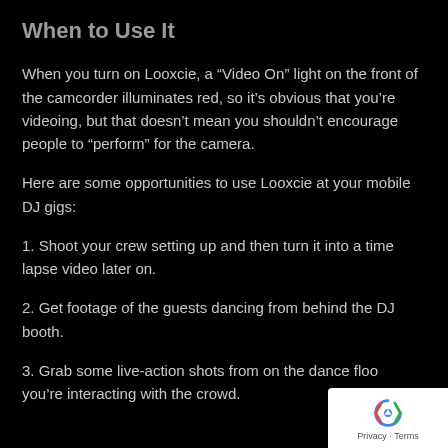When to Use It
When you turn on Looxcie, a “Video On” light on the front of the camcorder illuminates red, so it’s obvious that you’re videoing, but that doesn’t mean you shouldn’t encourage people to “perform” for the camera.
Here are some opportunities to use Looxcie at your mobile DJ gigs:
1. Shoot your crew setting up and then turn it into a time lapse video later on.
2. Get footage of the guests dancing from behind the DJ booth.
3. Grab some live-action shots from on the dance floo... you’re interacting with the crowd.